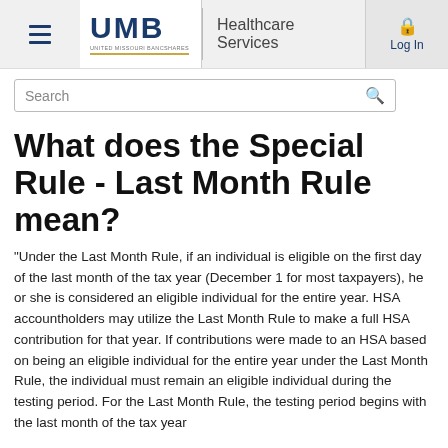UMB Healthcare Services
What does the Special Rule - Last Month Rule mean?
"Under the Last Month Rule, if an individual is eligible on the first day of the last month of the tax year (December 1 for most taxpayers), he or she is considered an eligible individual for the entire year. HSA accountholders may utilize the Last Month Rule to make a full HSA contribution for that year. If contributions were made to an HSA based on being an eligible individual for the entire year under the Last Month Rule, the individual must remain an eligible individual during the testing period. For the Last Month Rule, the testing period begins with the last month of the tax year